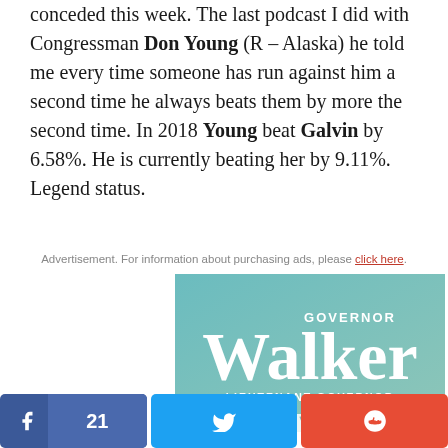conceded this week. The last podcast I did with Congressman Don Young (R – Alaska) he told me every time someone has run against him a second time he always beats them by more the second time. In 2018 Young beat Galvin by 6.58%. He is currently beating her by 9.11%. Legend status.
Advertisement. For information about purchasing ads, please click here.
[Figure (other): Campaign advertisement banner for Governor Walker and Lieutenant Governor Drygas, teal/light blue gradient background with large white text]